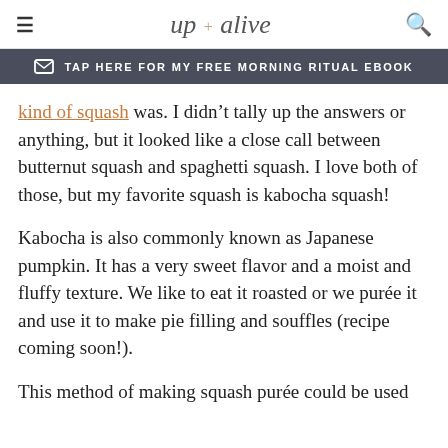up + alive
TAP HERE FOR MY FREE MORNING RITUAL EBOOK
kind of squash was. I didn’t tally up the answers or anything, but it looked like a close call between butternut squash and spaghetti squash. I love both of those, but my favorite squash is kabocha squash!
Kabocha is also commonly known as Japanese pumpkin. It has a very sweet flavor and a moist and fluffy texture. We like to eat it roasted or we purée it and use it to make pie filling and souffles (recipe coming soon!).
This method of making squash purée could be used